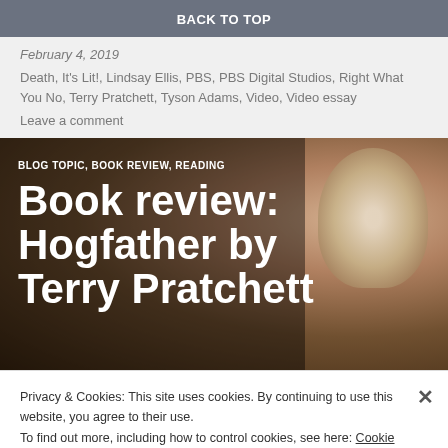BACK TO TOP
February 4, 2019
Death, It's Lit!, Lindsay Ellis, PBS, PBS Digital Studios, Right What You No, Terry Pratchett, Tyson Adams, Video, Video essay
Leave a comment
[Figure (photo): Hero image of a woman with light blonde hair, overlaid with large white bold text reading 'Book review: Hogfather by Terry Pratchett', and topic labels 'BLOG TOPIC, BOOK REVIEW, READING' above the title.]
Privacy & Cookies: This site uses cookies. By continuing to use this website, you agree to their use.
To find out more, including how to control cookies, see here: Cookie Policy
Close and accept